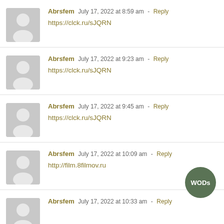Abrsfem  July 17, 2022 at 8:59 am  -  Reply
https://clck.ru/sJQRN
Abrsfem  July 17, 2022 at 9:23 am  -  Reply
https://clck.ru/sJQRN
Abrsfem  July 17, 2022 at 9:45 am  -  Reply
https://clck.ru/sJQRN
Abrsfem  July 17, 2022 at 10:09 am  -  Reply
http://film.8filmov.ru
Abrsfem  July 17, 2022 at 10:33 am  -  Reply
[Figure (illustration): WODs circular green button]